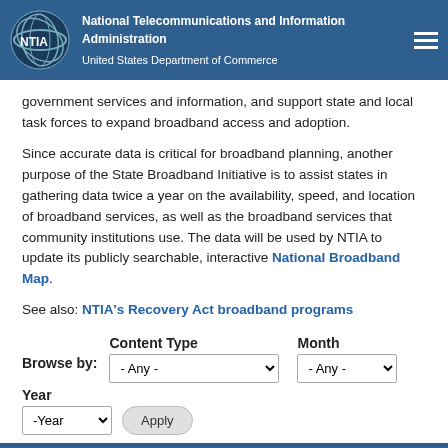National Telecommunications and Information Administration | United States Department of Commerce
government services and information, and support state and local task forces to expand broadband access and adoption.
Since accurate data is critical for broadband planning, another purpose of the State Broadband Initiative is to assist states in gathering data twice a year on the availability, speed, and location of broadband services, as well as the broadband services that community institutions use. The data will be used by NTIA to update its publicly searchable, interactive National Broadband Map.
See also: NTIA's Recovery Act broadband programs
Browse by:  Content Type  Month
Year
October 2015
Report  10/16/2015